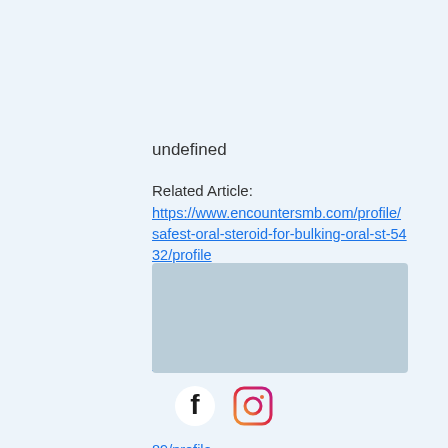undefined
Related Article:
https://www.encountersmb.com/profile/safest-oral-steroid-for-bulking-oral-st-5432/profile
https://www.leylabulmer.com/profile/bulking-products-bulking-supplements-st-3569/profile
https://www.hamador.co.il/profile/where-to-buy-crazy-bulk-hgh-x2-crazy-bu-8067/profile
https://www.fabulously.org/profile/sarms-for-sale-mk-2866-ostarine-mk-2866-4689/profile
[Figure (other): Gray/blue footer band]
[Figure (other): Social media icons: Facebook and Instagram]